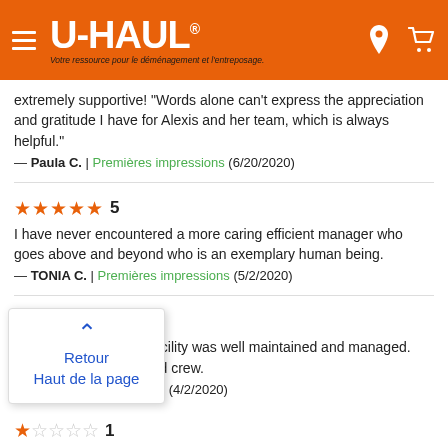U-HAUL | Votre ressource pour le déménagement et l'entreposage.
extremely supportive! "Words alone can't express the appreciation and gratitude I have for Alexis and her team, which is always helpful." — Paula C. | Premières impressions (6/20/2020)
★★★★★ 5
I have never encountered a more caring efficient manager who goes above and beyond who is an exemplary human being.
— TONIA C. | Premières impressions (5/2/2020)
★★★★★ 5
Staff was very good. Facility was well maintained and managed. Thumbs up to Alexis and crew.
— | Expérience générale (4/2/2020)
Retour
Haut de la page
★☆☆☆☆ 1